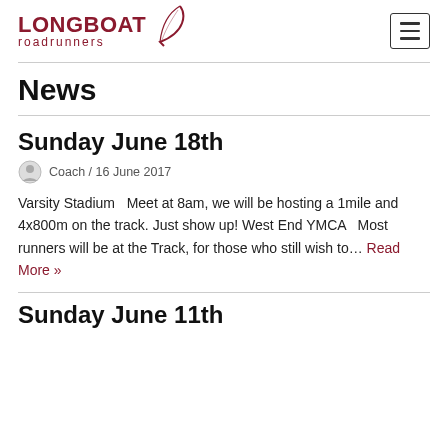LONGBOAT roadrunners
News
Sunday June 18th
Coach / 16 June 2017
Varsity Stadium  Meet at 8am, we will be hosting a 1mile and 4x800m on the track. Just show up! West End YMCA  Most runners will be at the Track, for those who still wish to… Read More »
Sunday June 11th